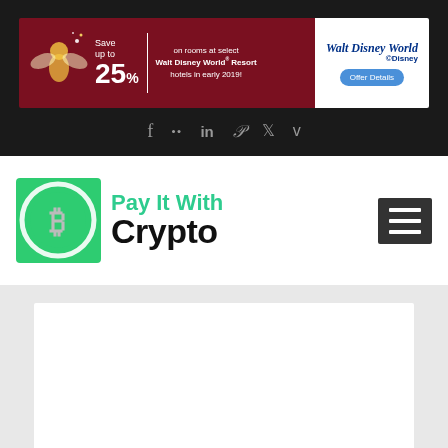[Figure (screenshot): Walt Disney World promotional banner ad: dark red background with Tinker Bell fairy graphic, 'Save up to 25% on rooms at select Walt Disney World Resort hotels in early 2019!' text, and white section with Walt Disney World logo and 'Offer Details' blue button]
[Figure (infographic): Social media icons row: Facebook, Flickr, LinkedIn, Pinterest, Twitter, Vimeo on dark background]
[Figure (logo): Pay It With Crypto logo: green square with Bitcoin symbol circle icon, green text 'Pay It With' and black bold text 'Crypto']
[Figure (other): Hamburger menu icon (three horizontal lines) in dark gray square]
[Figure (other): White content box on light gray background at bottom of page]